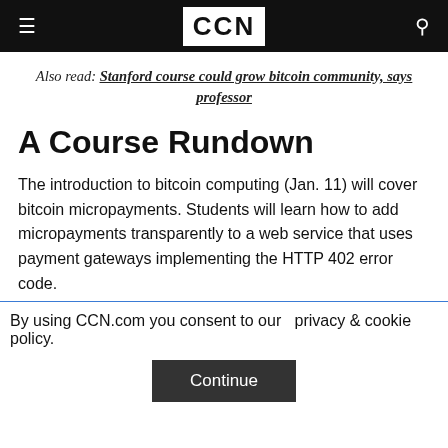CCN
Also read: Stanford course could grow bitcoin community, says professor
A Course Rundown
The introduction to bitcoin computing (Jan. 11) will cover bitcoin micropayments. Students will learn how to add micropayments transparently to a web service that uses payment gateways implementing the HTTP 402 error code.
By using CCN.com you consent to our  privacy & cookie policy.
Continue